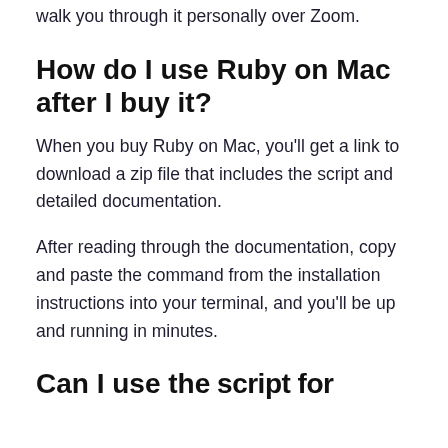walk you through it personally over Zoom.
How do I use Ruby on Mac after I buy it?
When you buy Ruby on Mac, you'll get a link to download a zip file that includes the script and detailed documentation.
After reading through the documentation, copy and paste the command from the installation instructions into your terminal, and you'll be up and running in minutes.
Can I use the script for...